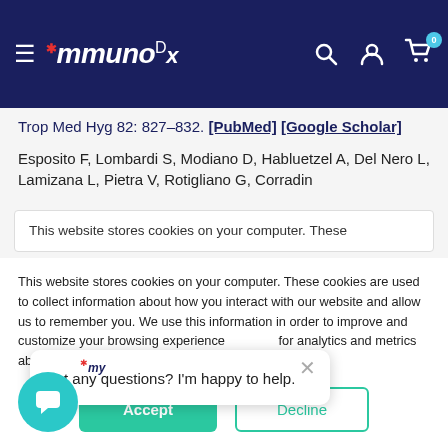ImmunoDx navigation bar with logo, search, account, and cart icons
Trop Med Hyg 82: 827–832. [PubMed] [Google Scholar]
Esposito F, Lombardi S, Modiano D, Habluetzel A, Del Nero L, Lamizana L, Pietra V, Rotigliano G, Corradin
This website stores cookies on your computer. These
This website stores cookies on your computer. These cookies are used to collect information about how you interact with our website and allow us to remember you. We use this information in order to improve and customize your browsing experience and for analytics and metrics about our visitors both on this website... about the cookies we use, see our... won't be tracked single cookie will be used in your browser to remember your preference not to be tracked.
Got any questions? I'm happy to help.
Accept
Decline